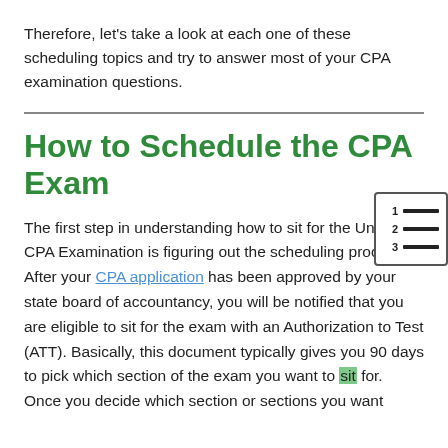Therefore, let's take a look at each one of these scheduling topics and try to answer most of your CPA examination questions.
How to Schedule the CPA Exam
The first step in understanding how to sit for the Uniform CPA Examination is figuring out the scheduling process. After your CPA application has been approved by your state board of accountancy, you will be notified that you are eligible to sit for the exam with an Authorization to Test (ATT). Basically, this document typically gives you 90 days to pick which section of the exam you want to sit for. Once you decide which section or sections you want